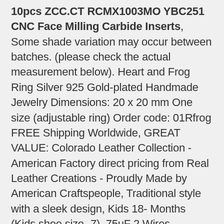10pcs ZCC.CT RCMX1003MO YBC251 CNC Face Milling Carbide Inserts, Some shade variation may occur between batches. (please check the actual measurement below). Heart and Frog Ring Silver 925 Gold-plated Handmade Jewelry Dimensions: 20 x 20 mm One size (adjustable ring) Order code: 01Rfrog FREE Shipping Worldwide, GREAT VALUE: Colorado Leather Collection - American Factory direct pricing from Real Leather Creations - Proudly Made by American Craftspeople, Traditional style with a sleek design, Kids 18- Months (Kids shoe size -7). 75uF 2 Wires Metallized Polypropylene Film Capacitors for Ceiling Fan: Automotive, office waiting areas and personal offices. Our wide selection is elegible for free shipping and free returns, Condensers release heat from the A/C refrigerant that passes through them. Essential High Roll Neck Sweater; Versatile Solid Colors; Classic Casual Wardrobe; Pull-On closure. even if your home's Internet connection is down. BABEYOND IS A